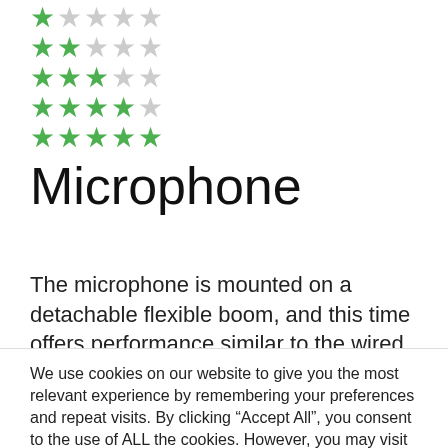[Figure (other): Star rating graphic showing 5 rows of stars, partially filled green from bottom up, gray stars for unfilled portions]
Microphone
The microphone is mounted on a detachable flexible boom, and this time offers performance similar to the wired Cloud
We use cookies on our website to give you the most relevant experience by remembering your preferences and repeat visits. By clicking “Accept All”, you consent to the use of ALL the cookies. However, you may visit "Cookie Settings" to provide a controlled consent.